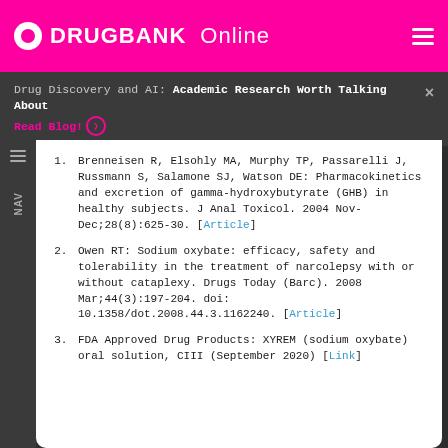DRUGBANK Online
Drug Discovery and AI: Academic Research Worth Talking About
Read Blog!
Brenneisen R, Elsohly MA, Murphy TP, Passarelli J, Russmann S, Salamone SJ, Watson DE: Pharmacokinetics and excretion of gamma-hydroxybutyrate (GHB) in healthy subjects. J Anal Toxicol. 2004 Nov-Dec;28(8):625-30. [Article]
Owen RT: Sodium oxybate: efficacy, safety and tolerability in the treatment of narcolepsy with or without cataplexy. Drugs Today (Barc). 2008 Mar;44(3):197-204. doi: 10.1358/dot.2008.44.3.1162240. [Article]
FDA Approved Drug Products: XYREM (sodium oxybate) oral solution, CIII (September 2020) [Link]